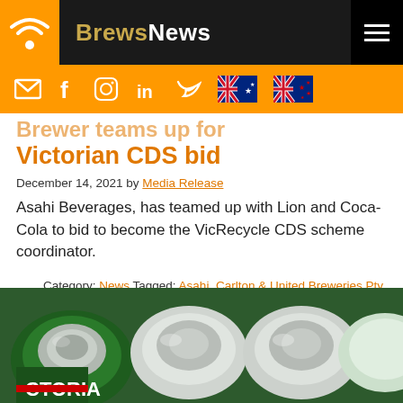BrewsNews
Brewer teams up for Victorian CDS bid
December 14, 2021 by Media Release
Asahi Beverages, has teamed up with Lion and Coca-Cola to bid to become the VicRecycle CDS scheme coordinator.
Category: News Tagged: Asahi, Carlton & United Breweries Pty Ltd, CDS, Container Deposit Scheme, Lion
[Figure (photo): Top-down view of crushed aluminium beer cans including Victoria Bitter green cans]